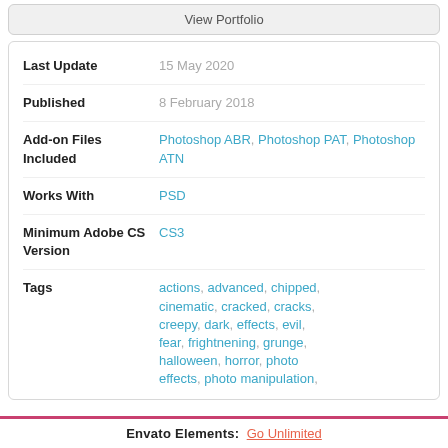View Portfolio
| Field | Value |
| --- | --- |
| Last Update | 15 May 2020 |
| Published | 8 February 2018 |
| Add-on Files Included | Photoshop ABR, Photoshop PAT, Photoshop ATN |
| Works With | PSD |
| Minimum Adobe CS Version | CS3 |
| Tags | actions, advanced, chipped, cinematic, cracked, cracks, creepy, dark, effects, evil, fear, frightnening, grunge, halloween, horror, photo effects, photo manipulation, |
Envato Elements: Go Unlimited